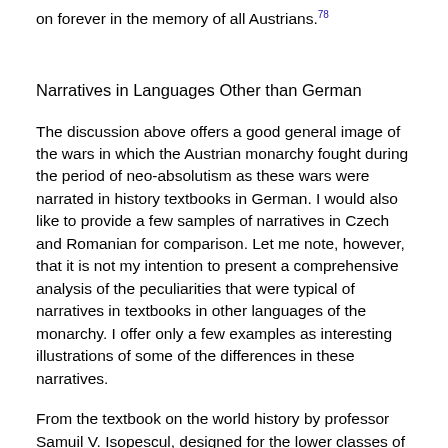on forever in the memory of all Austrians.78
Narratives in Languages Other than German
The discussion above offers a good general image of the wars in which the Austrian monarchy fought during the period of neo-absolutism as these wars were narrated in history textbooks in German. I would also like to provide a few samples of narratives in Czech and Romanian for comparison. Let me note, however, that it is not my intention to present a comprehensive analysis of the peculiarities that were typical of narratives in textbooks in other languages of the monarchy. I offer only a few examples as interesting illustrations of some of the differences in these narratives.
From the textbook on the world history by professor Samuil V. Isopescul, designed for the lower classes of secondary schools and published in Romanian, the reader would